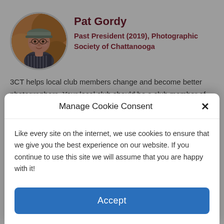[Figure (photo): Circular profile photo of Pat Gordy, a woman wearing glasses and a cap, photographed outdoors]
Pat Gordy
Past President (2019), Photographic Society of Chattanooga
3CT helps local club members change and become better photographers. Your local club should be a club member of 3CT, and I encourage you to ask your club leaders for your club to join.
Manage Cookie Consent
Like every site on the internet, we use cookies to ensure that we give you the best experience on our website. If you continue to use this site we will assume that you are happy with it!
Accept